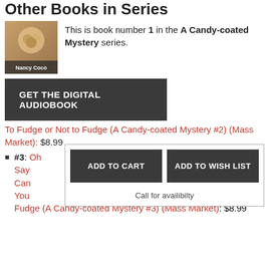Other Books in Series
[Figure (photo): Book cover thumbnail for a Nancy Coco novel, showing a person holding chocolates, with author name Nancy Coco at the bottom]
This is book number 1 in the A Candy-coated Mystery series.
GET THE DIGITAL AUDIOBOOK
To Fudge or Not to Fudge (A Candy-coated Mystery #2) (Mass Market): $8.99
#3: Oh Say Can You Fudge (A Candy-coated Mystery #3) (Mass Market): $8.99
[Figure (screenshot): Add to Cart / Add to Wish List modal dialog with Call for availibilty text]
#5: All You Need Is Fudge (A Candy-coated Mystery #5) (Mass Market): $8.99
#6: Forever Fudge (A Candy-coated Mystery #6) (Mass Market): $8.99
#7: Fudge Bites (A Candy-coated Mystery #7) (Mass Market): $7.99
#8: Have Yourself a Fudgy Little Christmas (A Candy-